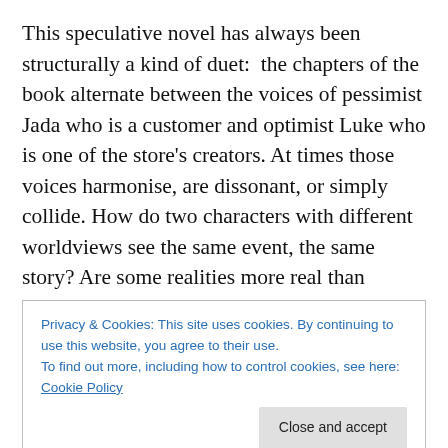This speculative novel has always been structurally a kind of duet:  the chapters of the book alternate between the voices of pessimist Jada who is a customer and optimist Luke who is one of the store's creators. At times those voices harmonise, are dissonant, or simply collide. How do two characters with different worldviews see the same event, the same story? Are some realities more real than others? And most importantly: what is hope and how do we make more of it?  The Hope Store tells the fable of the first store in the world to sell hope over the counter, the
Privacy & Cookies: This site uses cookies. By continuing to use this website, you agree to their use.
To find out more, including how to control cookies, see here: Cookie Policy
Close and accept
music of Kate Bush helped to conjure Jada for me.  Bush's